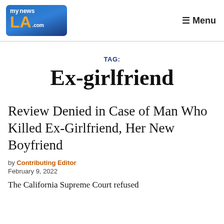[Figure (logo): MyNewsLA.com logo — blue gradient rounded rectangle with white text 'my news' and orange 'LA' and white '.com']
≡ Menu
TAG:
Ex-girlfriend
Review Denied in Case of Man Who Killed Ex-Girlfriend, Her New Boyfriend
by Contributing Editor
February 9, 2022
The California Supreme Court refused